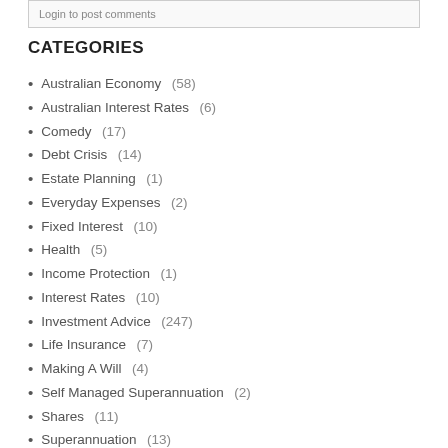Login to post comments
CATEGORIES
Australian Economy  (58)
Australian Interest Rates  (6)
Comedy  (17)
Debt Crisis  (14)
Estate Planning  (1)
Everyday Expenses  (2)
Fixed Interest  (10)
Health  (5)
Income Protection  (1)
Interest Rates  (10)
Investment Advice  (247)
Life Insurance  (7)
Making A Will  (4)
Self Managed Superannuation  (2)
Shares  (11)
Superannuation  (13)